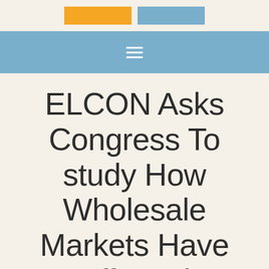[Figure (logo): Two colored rectangles side by side: a yellow/orange block and a blue block, representing a logo]
Navigation bar with hamburger menu icon
ELCON Asks Congress To study How Wholesale Markets Have Affected Consumer